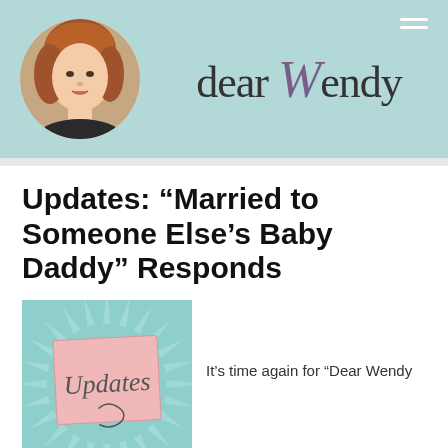[Figure (logo): Dear Wendy website header with circular portrait photo on teal/mint background, logo text 'dear Wendy' where W is in cursive purple, hamburger menu icon top right]
Updates: “Married to Someone Else’s Baby Daddy” Responds
[Figure (illustration): Updates graphic: teal starburst background with pink Post-it note reading 'Updates' in cursive handwriting style]
It’s time again for “Dear Wendy
Updates,” a feature where people I’ve given advice to in the past let us know whether they followed the advice and how they’re doing now. Today we hear from “Married to Someone